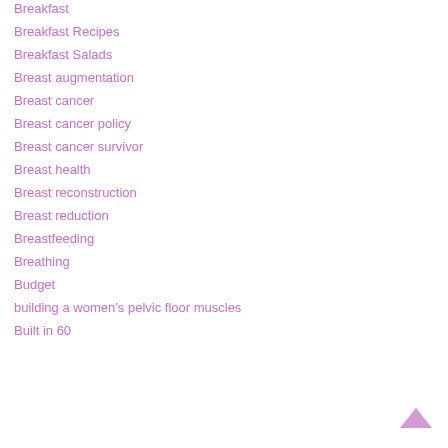Breakfast
Breakfast Recipes
Breakfast Salads
Breast augmentation
Breast cancer
Breast cancer policy
Breast cancer survivor
Breast health
Breast reconstruction
Breast reduction
Breastfeeding
Breathing
Budget
building a women’s pelvic floor muscles
Built in 60
[Figure (other): Upward chevron arrow icon in pink/mauve color, used as a back-to-top navigation button]